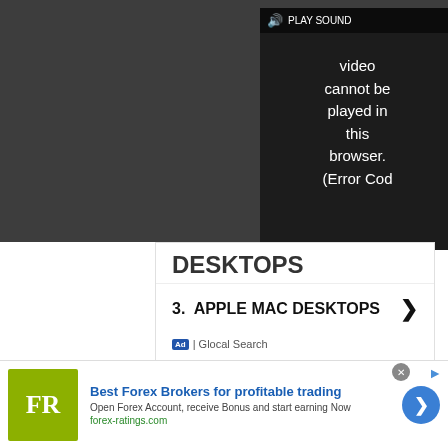[Figure (screenshot): Dark video player overlay with PLAY SOUND button and error message: 'Video cannot be played in this browser. (Error Cod']
3.  APPLE MAC DESKTOPS  ❯
Ad | Glocal Search
TODAY'S BEST DEALS
Check Amazon
[Figure (screenshot): Advertisement banner: FR logo (olive/yellow background), 'Best Forex Brokers for profitable trading', 'Open Forex Account, receive Bonus and start earning Now', 'forex-ratings.com']